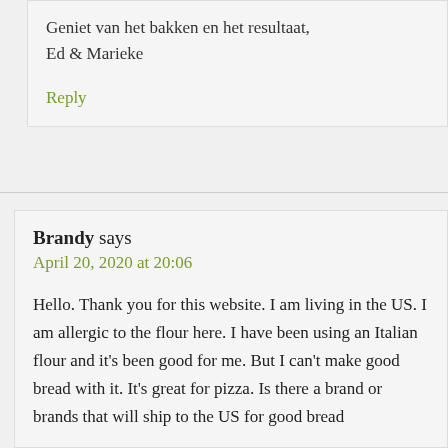Geniet van het bakken en het resultaat,
Ed & Marieke
Reply
Brandy says
April 20, 2020 at 20:06
Hello. Thank you for this website. I am living in the US. I am allergic to the flour here. I have been using an Italian flour and it's been good for me. But I can't make good bread with it. It's great for pizza. Is there a brand or brands that will ship to the US for good bread...